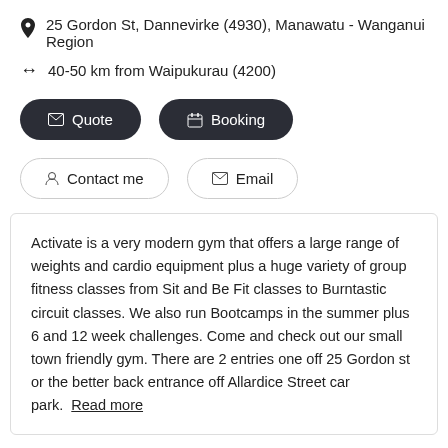25 Gordon St, Dannevirke (4930), Manawatu - Wanganui Region
40-50 km from Waipukurau (4200)
Quote | Booking
Contact me | Email
Activate is a very modern gym that offers a large range of weights and cardio equipment plus a huge variety of group fitness classes from Sit and Be Fit classes to Burntastic circuit classes. We also run Bootcamps in the summer plus 6 and 12 week challenges. Come and check out our small town friendly gym. There are 2 entries one off 25 Gordon st or the better back entrance off Allardice Street car park. Read more
Well Within
Dietitians and Nutritionists > Nutritionists
Phillipa Page, Nutritionist